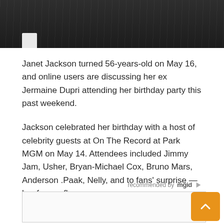[Figure (photo): Top portion of a photo showing two people in dark clothing, one in a pinstripe suit with white collar visible]
Janet Jackson turned 56-years-old on May 16, and online users are discussing her ex Jermaine Dupri attending her birthday party this past weekend.
Jackson celebrated her birthday with a host of celebrity guests at On The Record at Park MGM on May 14. Attendees included Jimmy Jam, Usher, Bryan-Michael Cox, Bruno Mars, Anderson .Paak, Nelly, and to fans' surprise — her former flame.
recommended by mgid
[Figure (other): Advertisement box placeholder (empty white box with border)]